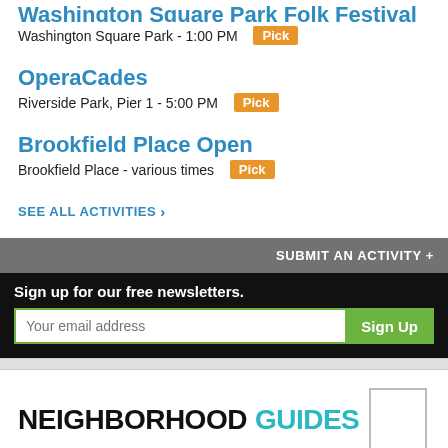Washington Square Park - 1:00 PM  [Pick]
OperaCades
Riverside Park, Pier 1 - 5:00 PM  [Pick]
Brookfield Place Open
Brookfield Place - various times  [Pick]
SEE ALL ACTIVITIES >
SUBMIT AN ACTIVITY +
Sign up for our free newsletters.
Your email address
Sign Up
NEIGHBORHOOD GUIDES